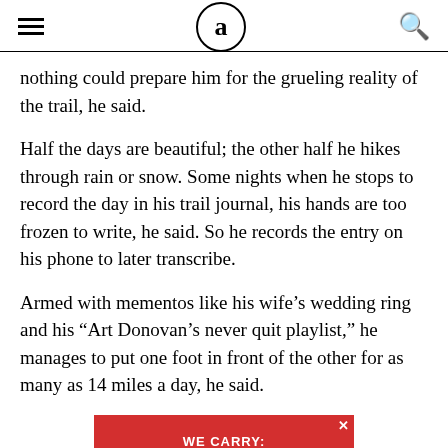≡  a  🔍
nothing could prepare him for the grueling reality of the trail, he said.
Half the days are beautiful; the other half he hikes through rain or snow. Some nights when he stops to record the day in his trail journal, his hands are too frozen to write, he said. So he records the entry on his phone to later transcribe.
Armed with mementos like his wife’s wedding ring and his “Art Donovan’s never quit playlist,” he manages to put one foot in front of the other for as many as 14 miles a day, he said.
[Figure (other): Advertisement banner with red background. Text reads: WE CARRY: C·D·DELTA 8·KRATOM]